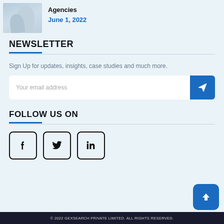[Figure (photo): Partial photo of a person in light blue/white clothing, cropped, upper body visible]
Agencies
June 1, 2022
NEWSLETTER
Sign Up for updates, insights, case studies and much more.
Your email address
FOLLOW US ON
[Figure (illustration): Facebook, Twitter, and LinkedIn social media icons in square bordered boxes]
[Figure (illustration): Back to top arrow button, blue rounded square]
© 2022 GEXSEARCH PRIVATE LIMITED. ALL RIGHTS RESERVED.